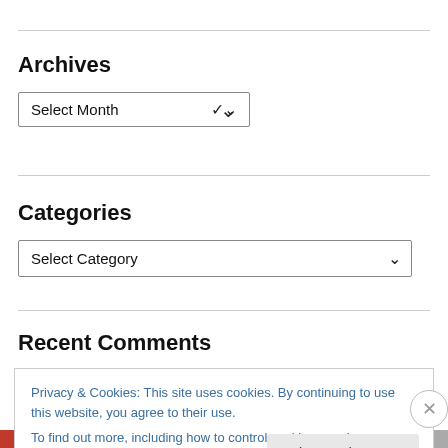Archives
[Figure (screenshot): Dropdown select box with 'Select Month' and a chevron arrow]
Categories
[Figure (screenshot): Dropdown select box with 'Select Category' and a chevron arrow, full width]
Recent Comments
Privacy & Cookies: This site uses cookies. By continuing to use this website, you agree to their use.
To find out more, including how to control cookies, see here: Cookie Policy
Close and accept